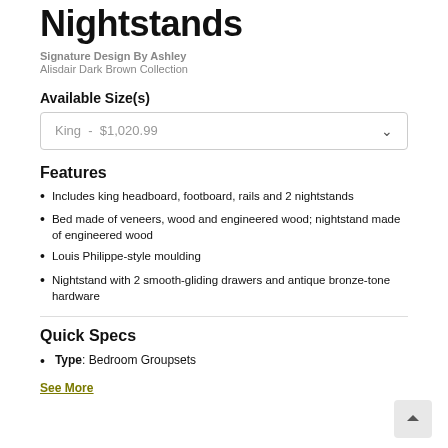Nightstands
Signature Design By Ashley
Alisdair Dark Brown Collection
Available Size(s)
King  -  $1,020.99
Features
Includes king headboard, footboard, rails and 2 nightstands
Bed made of veneers, wood and engineered wood; nightstand made of engineered wood
Louis Philippe-style moulding
Nightstand with 2 smooth-gliding drawers and antique bronze-tone hardware
Quick Specs
Type: Bedroom Groupsets
See More